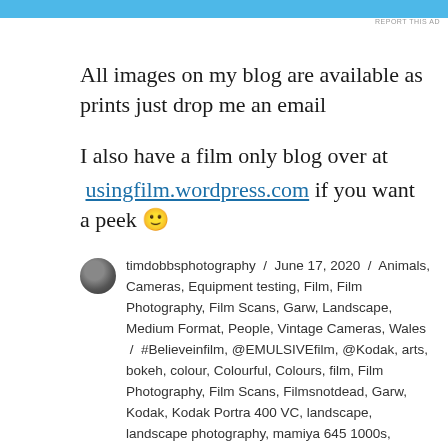[Figure (other): Blue advertisement banner at top of page with REPORT THIS AD text]
All images on my blog are available as prints just drop me an email
I also have a film only blog over at usingfilm.wordpress.com if you want a peek 🙂
timdobbsphotography / June 17, 2020 / Animals, Cameras, Equipment testing, Film, Film Photography, Film Scans, Garw, Landscape, Medium Format, People, Vintage Cameras, Wales / #Believeinfilm, @EMULSIVEfilm, @Kodak, arts, bokeh, colour, Colourful, Colours, film, Film Photography, Film Scans, Filmsnotdead, Garw, Kodak, Kodak Portra 400 VC, landscape, landscape photography, mamiya 645 1000s, outdoors, People, photography, Pontycymer, portrait, sky, Tim Dobbs, vintage, Wales / 1 Comment